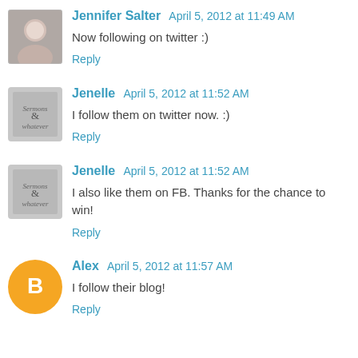[Figure (photo): Avatar photo of Jennifer Salter]
Jennifer Salter  April 5, 2012 at 11:49 AM
Now following on twitter :)
Reply
[Figure (logo): Logo avatar for Jenelle]
Jenelle  April 5, 2012 at 11:52 AM
I follow them on twitter now. :)
Reply
[Figure (logo): Logo avatar for Jenelle]
Jenelle  April 5, 2012 at 11:52 AM
I also like them on FB. Thanks for the chance to win!
Reply
[Figure (logo): Orange Blogger avatar for Alex]
Alex  April 5, 2012 at 11:57 AM
I follow their blog!
Reply